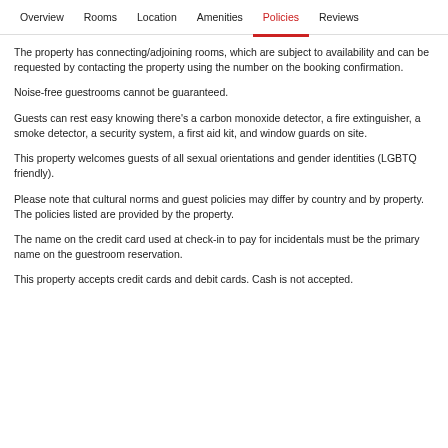Overview  Rooms  Location  Amenities  Policies  Reviews
The property has connecting/adjoining rooms, which are subject to availability and can be requested by contacting the property using the number on the booking confirmation.
Noise-free guestrooms cannot be guaranteed.
Guests can rest easy knowing there's a carbon monoxide detector, a fire extinguisher, a smoke detector, a security system, a first aid kit, and window guards on site.
This property welcomes guests of all sexual orientations and gender identities (LGBTQ friendly).
Please note that cultural norms and guest policies may differ by country and by property. The policies listed are provided by the property.
The name on the credit card used at check-in to pay for incidentals must be the primary name on the guestroom reservation.
This property accepts credit cards and debit cards. Cash is not accepted.